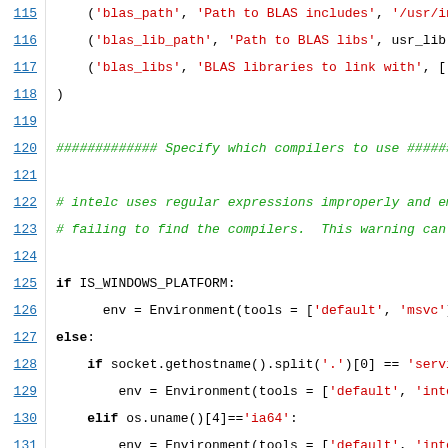[Figure (screenshot): Source code listing showing Python/SCons build script lines 115-136, with syntax highlighting: line numbers in blue on left, keywords in bold black, string literals in red, comments in green italic.]